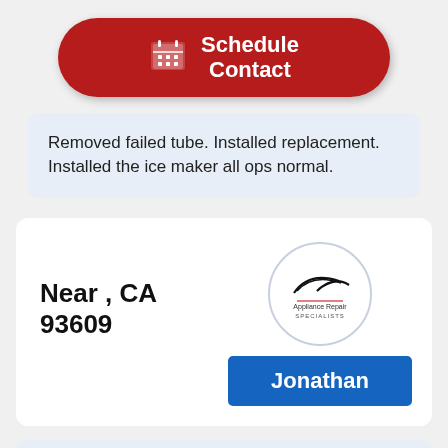[Figure (other): Red rounded rectangle button with calendar icon and text 'Schedule Contact']
Removed failed tube. Installed replacement. Installed the ice maker all ops normal.
Near , CA 93609
[Figure (logo): Appliance Repair Specialists logo in a circle]
Jonathan
Job Details:
10/17/2019